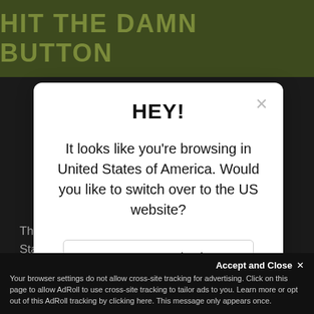HIT THE DAMN BUTTON
[Figure (screenshot): Website modal dialog asking user to switch to US website, with 'Go to United States' button showing US flag and 'No thanks, stay here' link]
The Causeway, Rourke House
Staines-upon-Thames, TW18 3BA
Accept and Close ×
Your browser settings do not allow cross-site tracking for advertising. Click on this page to allow AdRoll to use cross-site tracking to tailor ads to you. Learn more or opt out of this AdRoll tracking by clicking here. This message only appears once.